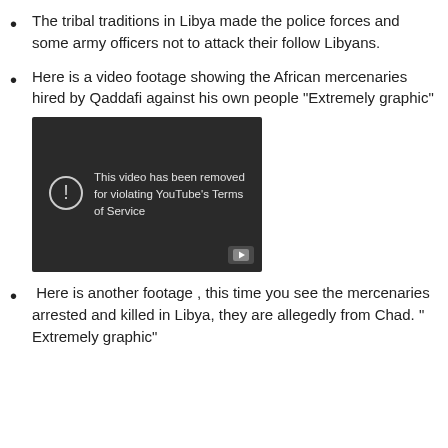The tribal traditions in Libya made the police forces and some army officers not to attack their follow Libyans.
Here is a video footage showing the African mercenaries hired by Qaddafi against his own people "Extremely graphic"
[Figure (screenshot): YouTube video removed notice: dark background with exclamation icon and text 'This video has been removed for violating YouTube's Terms of Service', YouTube play button icon in bottom right.]
Here is another footage , this time you see the mercenaries arrested and killed in Libya, they are allegedly from Chad. " Extremely graphic"